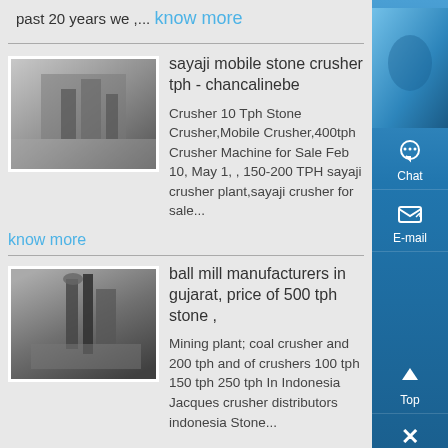past 20 years we ,... know more
[Figure (photo): Industrial stone crusher facility interior]
sayaji mobile stone crusher tph - chancalinebe
Crusher 10 Tph Stone Crusher,Mobile Crusher,400tph Crusher Machine for Sale Feb 10, May 1, , 150-200 TPH sayaji crusher plant,sayaji crusher for sale...
know more
[Figure (photo): Ball mill / industrial crusher machinery outdoors]
ball mill manufacturers in gujarat, price of 500 tph stone ,
Mining plant; coal crusher and 200 tph and of crushers 100 tph 150 tph 250 tph In Indonesia Jacques crusher distributors indonesia Stone...